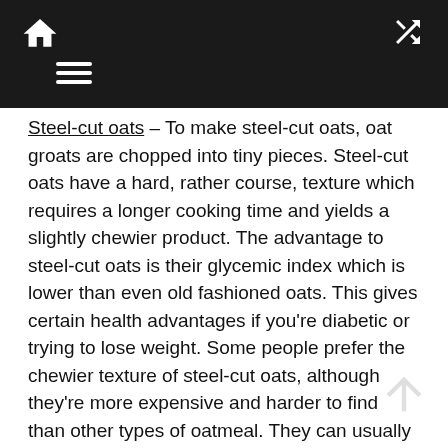Navigation bar with home icon, menu icon, and shuffle icon
Steel-cut oats – To make steel-cut oats, oat groats are chopped into tiny pieces. Steel-cut oats have a hard, rather course, texture which requires a longer cooking time and yields a slightly chewier product. The advantage to steel-cut oats is their glycemic index which is lower than even old fashioned oats. This gives certain health advantages if you're diabetic or trying to lose weight. Some people prefer the chewier texture of steel-cut oats, although they're more expensive and harder to find than other types of oatmeal. They can usually be found at most natural food markets.
Instant oatmeal – Yes, those little packets of instant oatmeal and quick and convenient, but they're often loaded with sugar and salt. It's tempting to buy them because of their ease of preparation. Plus, they often have added flavoring which makes the taste more